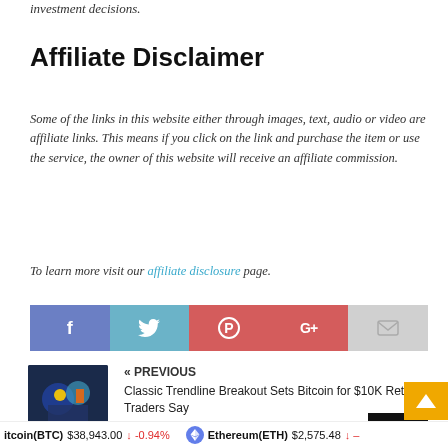investment decisions.
Affiliate Disclaimer
Some of the links in this website either through images, text, audio or video are affiliate links. This means if you click on the link and purchase the item or use the service, the owner of this website will receive an affiliate commission.
To learn more visit our affiliate disclosure page.
[Figure (infographic): Social media share buttons: Facebook, Twitter, Pinterest, Google+, Email]
[Figure (infographic): Previous article link with thumbnail: Classic Trendline Breakout Sets Bitcoin for $10K Retest, Traders Say]
[Figure (infographic): Next article navigation button with Topps thumbnail and scroll-to-top button]
Bitcoin(BTC) $38,943.00 ↓ -0.94% | Ethereum(ETH) $2,575.48 ↓